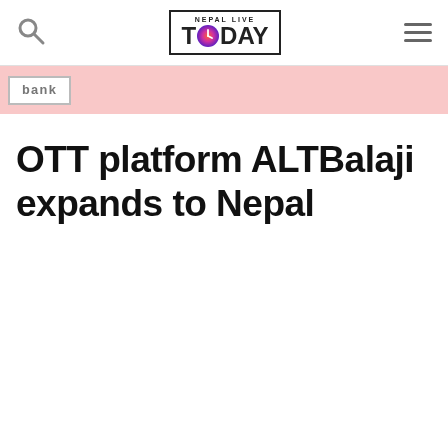Nepal Live Today — navigation header with search icon, logo, and hamburger menu
[Figure (other): Pink banner strip with partial white box containing text 'bank' in gray monospace font]
OTT platform ALTBalaji expands to Nepal